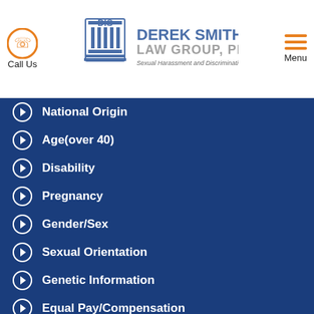Derek Smith Law Group, PLLC — Call Us | Menu
National Origin
Age(over 40)
Disability
Pregnancy
Gender/Sex
Sexual Orientation
Genetic Information
Equal Pay/Compensation
Ethnic
LGBT
Bankruptcy